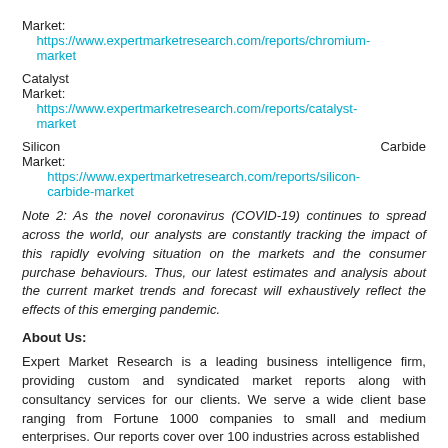Market: https://www.expertmarketresearch.com/reports/chromium-market
Catalyst Market: https://www.expertmarketresearch.com/reports/catalyst-market
Silicon Carbide Market: https://www.expertmarketresearch.com/reports/silicon-carbide-market
Note 2: As the novel coronavirus (COVID-19) continues to spread across the world, our analysts are constantly tracking the impact of this rapidly evolving situation on the markets and the consumer purchase behaviours. Thus, our latest estimates and analysis about the current market trends and forecast will exhaustively reflect the effects of this emerging pandemic.
About Us:
Expert Market Research is a leading business intelligence firm, providing custom and syndicated market reports along with consultancy services for our clients. We serve a wide client base ranging from Fortune 1000 companies to small and medium enterprises. Our reports cover over 100 industries across established and emerging markets, skilled by a team of analysts and data scientists.